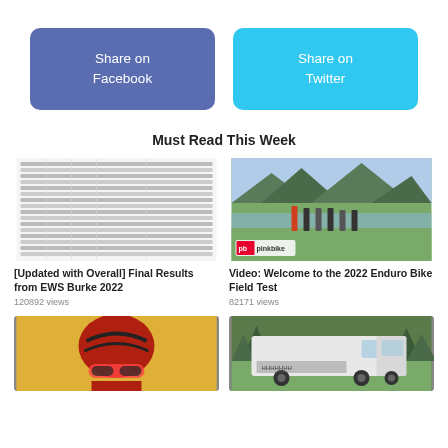[Figure (other): Share on Facebook button (blue/purple rounded rectangle)]
[Figure (other): Share on Twitter button (cyan rounded rectangle)]
Must Read This Week
[Figure (table-as-image): Thumbnail showing a race results table from EWS Burke 2022]
[Updated with Overall] Final Results from EWS Burke 2022
120892 views
[Figure (photo): Photo of mountain bikes lined up by a lake with mountains, pinkbike logo overlay]
Video: Welcome to the 2022 Enduro Bike Field Test
82171 views
[Figure (photo): Photo of a cyclist wearing red helmet and glasses]
[Figure (photo): Photo of a white truck/van in a wooded area]